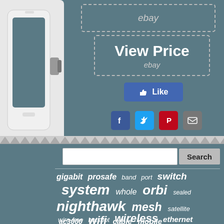[Figure (screenshot): eBay product listing page screenshot showing a network device (likely a Netgear router/mesh system) with 'View Price' button and social sharing buttons (Like, Facebook, Twitter, Pinterest, Email). Below is a tag cloud with networking-related keywords: gigabit, prosafe, band, port, switch, system, whole, orbi, sealed, nighthawk, mesh, satellite, wire-free, hotspot, wireless, ethernet, ac3000, wifi, cable, mobile.]